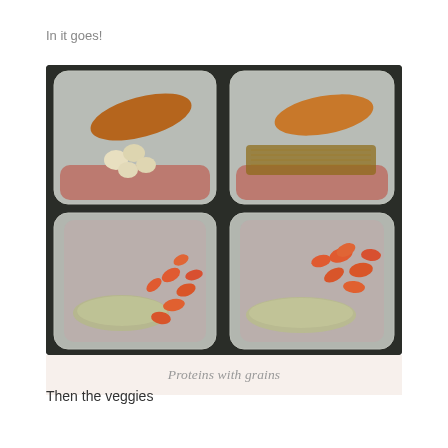In it goes!
[Figure (photo): Four clear plastic food storage containers arranged in a 2x2 grid on a dark countertop. Top-left container has a sweet potato and cauliflower pieces. Top-right container has a sweet potato and shredded meat/grains. Bottom-left container has shrimp and quinoa/grain mixture. Bottom-right container has shrimp and quinoa/grain mixture.]
Proteins with grains
Then the veggies